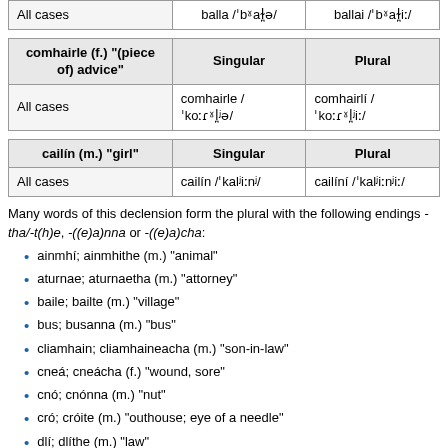|  | balla /ˈbˠaɫ̪ə/ | ballai /ˈbˠaɫ̪iː/ |
| --- | --- | --- |
| All cases | balla /ˈbˠaɫ̪ə/ | ballai /ˈbˠaɫ̪iː/ |
| comhairle (f.) "(piece of) advice" | Singular | Plural |
| --- | --- | --- |
| All cases | comhairle / ˈkoːɾˠl̪ʲə/ | comhairlí / ˈkoːɾˠl̪ʲiː/ |
| cailín (m.) "girl" | Singular | Plural |
| --- | --- | --- |
| All cases | cailín /ˈkalʲiːnʲ/ | cailíní /ˈkalʲiːnʲiː/ |
Many words of this declension form the plural with the following endings -tha/-t(h)e, -((e)a)nna or -((e)a)cha:
ainmhí; ainmhithe (m.) "animal"
aturnae; aturnaetha (m.) "attorney"
baile; bailte (m.) "village"
bus; busanna (m.) "bus"
cliamhain; cliamhaineacha (m.) "son-in-law"
cneá; cneácha (f.) "wound, sore"
cnó; cnónna (m.) "nut"
cró; cróite (m.) "outhouse; eye of a needle"
dlí; dlíthe (m.) "law"